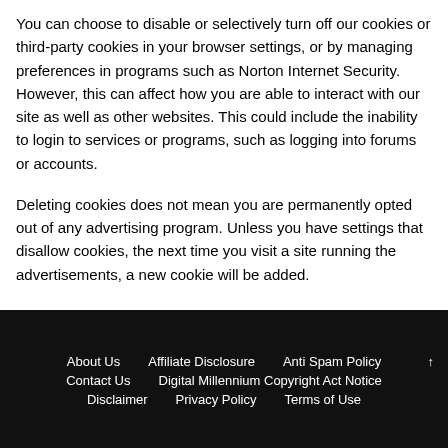You can choose to disable or selectively turn off our cookies or third-party cookies in your browser settings, or by managing preferences in programs such as Norton Internet Security. However, this can affect how you are able to interact with our site as well as other websites. This could include the inability to login to services or programs, such as logging into forums or accounts.
Deleting cookies does not mean you are permanently opted out of any advertising program. Unless you have settings that disallow cookies, the next time you visit a site running the advertisements, a new cookie will be added.
About Us   Affiliate Disclosure   Anti Spam Policy   Contact Us   Digital Millennium Copyright Act Notice   Disclaimer   Privacy Policy   Terms of Use   ↑